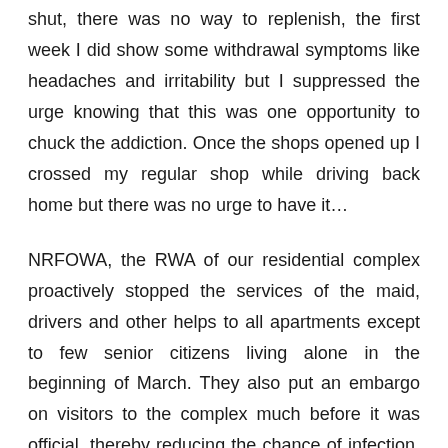shut, there was no way to replenish, the first week I did show some withdrawal symptoms like headaches and irritability but I suppressed the urge knowing that this was one opportunity to chuck the addiction. Once the shops opened up I crossed my regular shop while driving back home but there was no urge to have it…
NRFOWA, the RWA of our residential complex proactively stopped the services of the maid, drivers and other helps to all apartments except to few senior citizens living alone in the beginning of March. They also put an embargo on visitors to the complex much before it was official, thereby reducing the chance of infection. We have had sporadic cases since the lockdown relaxation and the figure approx. 10-12 out of over 1000 residents.